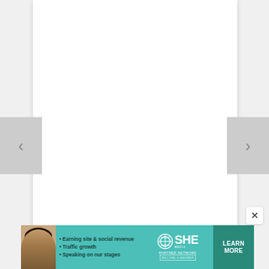[Figure (screenshot): Navigation arrow left button on grey background]
[Figure (screenshot): Navigation arrow right button on grey background]
NIGHTTIME HIKING IN SAN DIEGO: SAFETY TIPS & LOCATIONS
[Figure (infographic): Advertisement banner for SHE Media Partner Network with woman photo, bullet points: Earning site & social revenue, Traffic growth, Speaking on our stages. Includes LEARN MORE call-to-action button and BECOME A MEMBER text.]